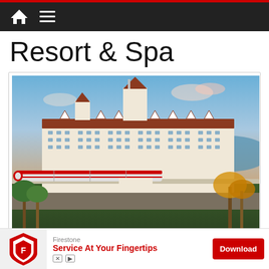Resort & Spa
[Figure (photo): Aerial view of a large white Victorian-style resort hotel with red roofs and pointed turrets, with a red-and-white Disney monorail passing in front, palm trees in the foreground, and a lake in the background at dusk.]
©Disney
Firestone Service At Your Fingertips Download